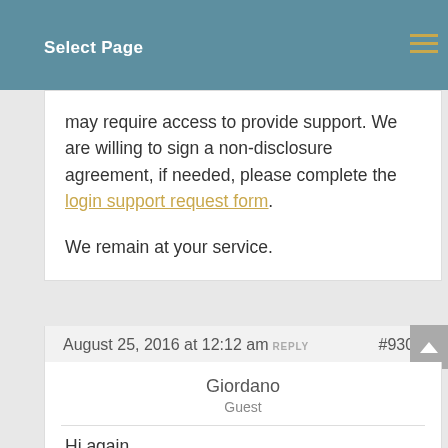Select Page
may require access to provide support. We are willing to sign a non-disclosure agreement, if needed, please complete the login support request form.
We remain at your service.
August 25, 2016 at 12:12 am REPLY #9307
Giordano
Guest
Hi again,